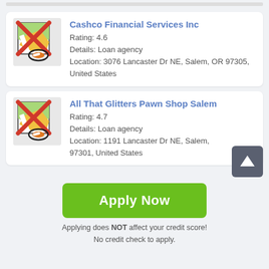[Figure (screenshot): Listing card for Cashco Financial Services Inc with crossed-out map icon, rating 4.6, loan agency, located at 3076 Lancaster Dr NE, Salem, OR 97305, United States]
[Figure (screenshot): Listing card for All That Glitters Pawn Shop Salem with crossed-out map icon, rating 4.7, loan agency, located at 1191 Lancaster Dr NE, Salem, OR 97301, United States]
Apply Now
Applying does NOT affect your credit score!
No credit check to apply.